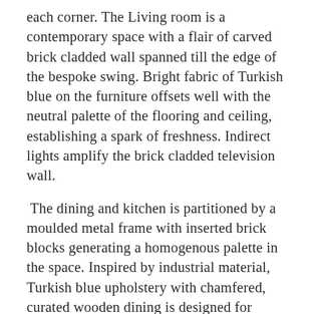each corner. The Living room is a contemporary space with a flair of carved brick cladded wall spanned till the edge of the bespoke swing. Bright fabric of Turkish blue on the furniture offsets well with the neutral palette of the flooring and ceiling, establishing a spark of freshness. Indirect lights amplify the brick cladded television wall.
The dining and kitchen is partitioned by a moulded metal frame with inserted brick blocks generating a homogenous palette in the space. Inspired by industrial material, Turkish blue upholstery with chamfered, curated wooden dining is designed for three.  The dining wall is elevated by the pattern fabricated arched frames with a series of inverted and hanging clay light fixtures.